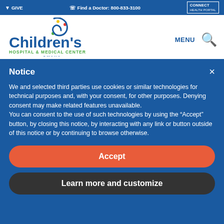GIVE  |  Find a Doctor: 800-833-3100  |  CONNECT HEALTH PORTAL
[Figure (logo): Children's Hospital & Medical Center Omaha logo with colorful spiral emblem]
Notice
We and selected third parties use cookies or similar technologies for technical purposes and, with your consent, for other purposes. Denying consent may make related features unavailable.
You can consent to the use of such technologies by using the "Accept" button, by closing this notice, by interacting with any link or button outside of this notice or by continuing to browse otherwise.
Accept
Learn more and customize